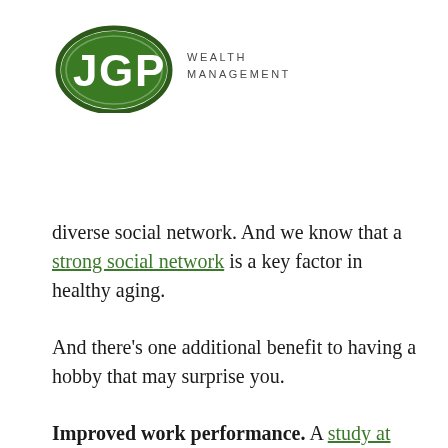[Figure (logo): JGP Wealth Management logo: green oval with white JGP letters and WEALTH MANAGEMENT text to the right]
diverse social network. And we know that a strong social network is a key factor in healthy aging.
And there’s one additional benefit to having a hobby that may surprise you.
Improved work performance. A study at San Francisco State University found that employees who had creative outlets outside of the office were better at creative problem-solving on the job. The findings